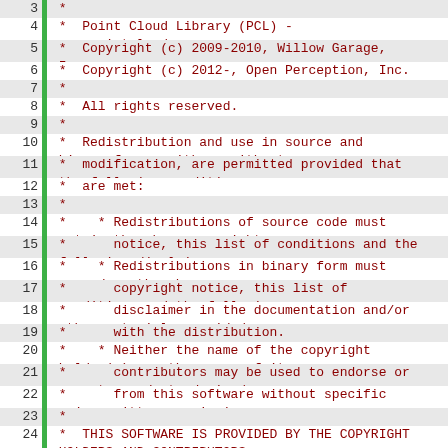Source code file showing lines 3-24 of a C++ file header comment for the Point Cloud Library (PCL) license (BSD-style).
3:  *
4:  *  Point Cloud Library (PCL) - www.pointclouds.org
5:  *  Copyright (c) 2009-2010, Willow Garage, Inc.
6:  *  Copyright (c) 2012-, Open Perception, Inc.
7:  *
8:  *  All rights reserved.
9:  *
10:  *  Redistribution and use in source and binary forms, with or without
11:  *  modification, are permitted provided that the following conditions
12:  *  are met:
13:  *
14:  *    * Redistributions of source code must retain the above copyright
15:  *      notice, this list of conditions and the following disclaimer.
16:  *    * Redistributions in binary form must reproduce the above
17:  *      copyright notice, this list of conditions and the following
18:  *      disclaimer in the documentation and/or other materials provided
19:  *      with the distribution.
20:  *    * Neither the name of the copyright holder(s) nor the names of its
21:  *      contributors may be used to endorse or promote products derived
22:  *      from this software without specific prior written permission.
23:  *
24:  *  THIS SOFTWARE IS PROVIDED BY THE COPYRIGHT HOLDERS AND CONTRIBUTORS